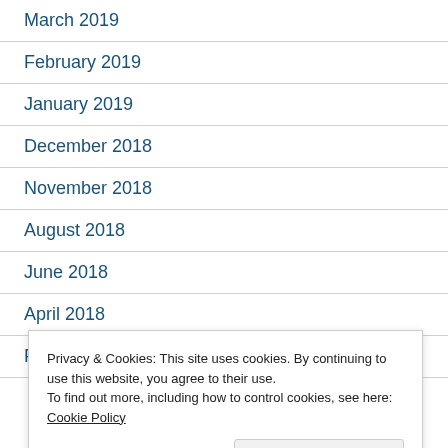March 2019
February 2019
January 2019
December 2018
November 2018
August 2018
June 2018
April 2018
February 2018
Privacy & Cookies: This site uses cookies. By continuing to use this website, you agree to their use.
To find out more, including how to control cookies, see here: Cookie Policy
Close and accept